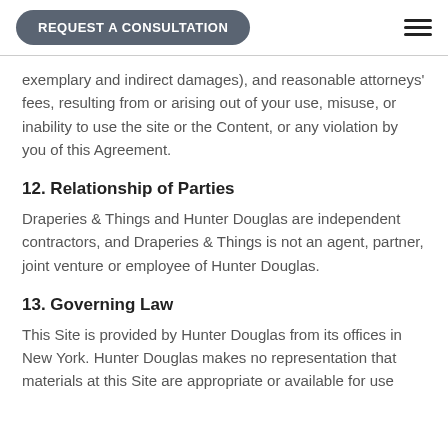REQUEST A CONSULTATION
exemplary and indirect damages), and reasonable attorneys' fees, resulting from or arising out of your use, misuse, or inability to use the site or the Content, or any violation by you of this Agreement.
12. Relationship of Parties
Draperies & Things and Hunter Douglas are independent contractors, and Draperies & Things is not an agent, partner, joint venture or employee of Hunter Douglas.
13. Governing Law
This Site is provided by Hunter Douglas from its offices in New York. Hunter Douglas makes no representation that materials at this Site are appropriate or available for use